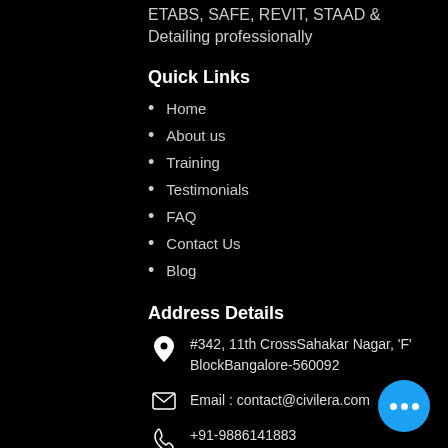ETABS, SAFE, REVIT, STAAD & Detailing professionally
Quick Links
Home
About us
Training
Testimonials
FAQ
Contact Us
Blog
Address Details
#342, 11th CrossSahakar Nagar, 'F' BlockBangalore-560092
Email : contact@civilera.com
+91-9886141883